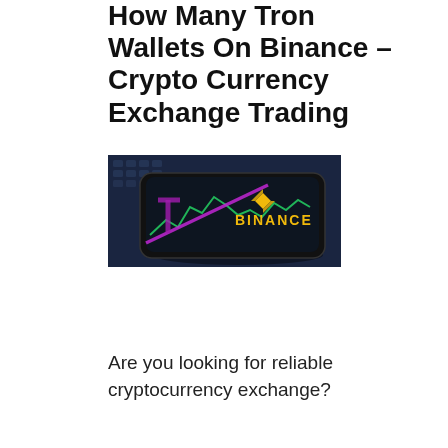How Many Tron Wallets On Binance – Crypto Currency Exchange Trading
[Figure (photo): A smartphone displaying the Binance logo and app with cryptocurrency trading charts (green and pink/magenta lines) visible on the screen, lying on a keyboard. The Binance logo and text in yellow/gold are prominent.]
Are you looking for reliable cryptocurrency exchange?